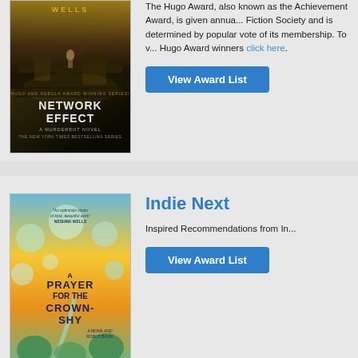[Figure (illustration): Book cover of 'Network Effect' by Martha Wells, showing dark sci-fi imagery with a figure on machinery, golden text. Hugo and Nebula Award Winning Series noted.]
The Hugo Award, also known as the Achievement Award, is given annually by the Fiction Society and is determined by popular vote of its membership. To view Hugo Award winners click here.
View Award List
[Figure (illustration): Book cover of 'A Prayer for the Crown-Shy' by Becky Chambers, with colorful illustrated design showing nature and architecture in teal, yellow, and green.]
Indie Next
Inspired Recommendations from In...
View Award List